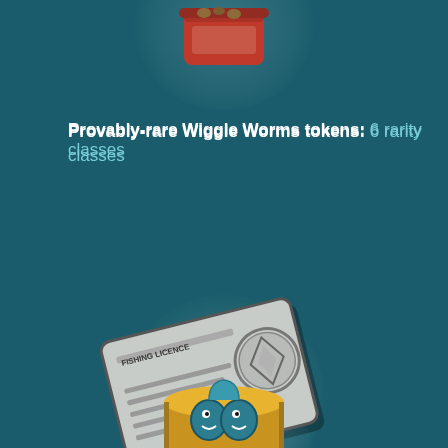[Figure (illustration): Partially visible red worm bucket illustration at the top of the page, with a circular glow behind it]
Provably-rare Wiggle Worms tokens: 6 rarity classes
[Figure (illustration): Fishing licence card illustration, tilted, showing text FISHING LICENCE with lines and a circular stamp, on a grey card background, with a circular glow behind it]
Own your fishing licence &  be part of WWFC community
[Figure (illustration): Partially visible illustrated fish coin/trophy with fish imagery on it, with a circular glow behind it, at the bottom of the page]